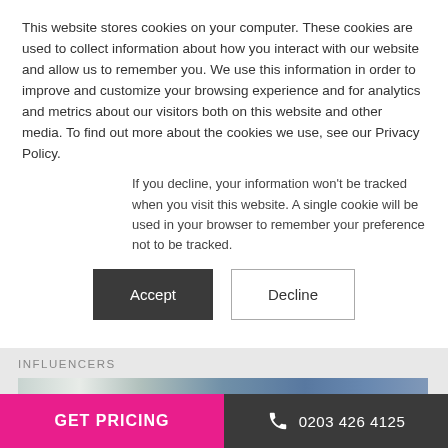This website stores cookies on your computer. These cookies are used to collect information about how you interact with our website and allow us to remember you. We use this information in order to improve and customize your browsing experience and for analytics and metrics about our visitors both on this website and other media. To find out more about the cookies we use, see our Privacy Policy.
If you decline, your information won't be tracked when you visit this website. A single cookie will be used in your browser to remember your preference not to be tracked.
Accept | Decline
INFLUENCERS
[Figure (photo): Sky with clouds, blue and grey tones, dramatic cloudscape]
GET PRICING
0203 426 4125